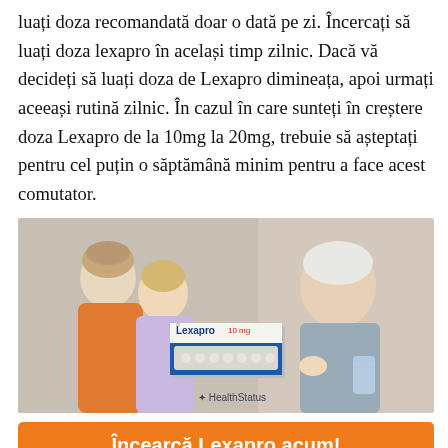luați doza recomandată doar o dată pe zi. Încercați să luați doza lexapro în același timp zilnic. Dacă vă decideți să luați doza de Lexapro dimineața, apoi urmați aceeași rutină zilnic. În cazul în care sunteți în creștere doza Lexapro de la 10mg la 20mg, trebuie să așteptați pentru cel puțin o săptămână minim pentru a face acest comutator.
[Figure (photo): Composite image showing a smiling couple on the left (man in orange shirt embracing woman), a Lexapro 10mg medication box in the center, and an older woman on the right holding a pill and a glass of water. HealthStatus logo at bottom center.]
Încearcă Lexapro acum!